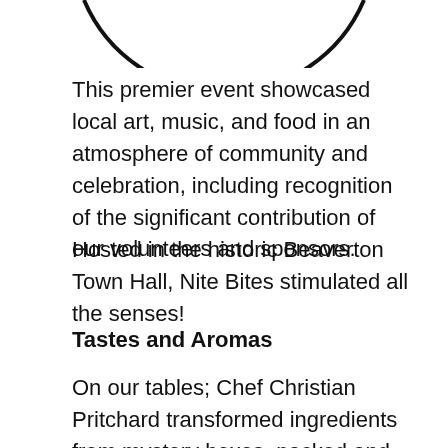[Figure (illustration): Bottom arc of a circular logo or emblem, showing only the lower portion of the circle outline in black on white background]
This premier event showcased local art, music, and food in an atmosphere of community and celebration, including recognition of the significant contribution of our volunteers and sponsors.
Hosted in the historic Beaverton Town Hall, Nite Bites stimulated all the senses!
Tastes and Aromas
On our tables; Chef Christian Pritchard transformed ingredients from mystery boxes, packed and provided by local growers, into mouth-watering tastes of pure culinary pleasure. Barn